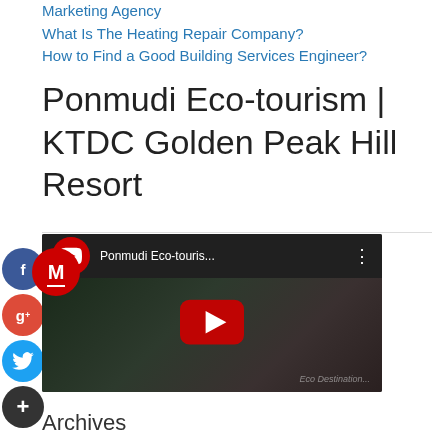Marketing Agency
What Is The Heating Repair Company?
How to Find a Good Building Services Engineer?
Ponmudi Eco-tourism | KTDC Golden Peak Hill Resort
[Figure (screenshot): YouTube video thumbnail for 'Ponmudi Eco-touris...' with play button, social share icons (Facebook, Google+, Twitter, plus), and M logo]
Archives